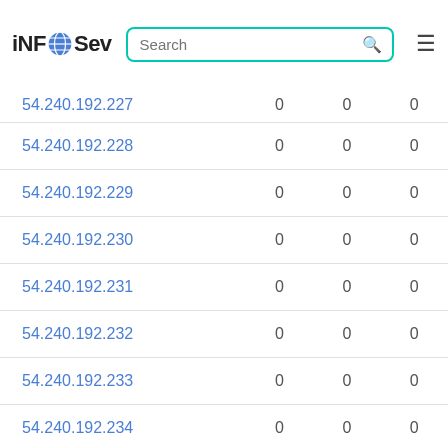iNFOSev | Search
| IP |  |  |  |
| --- | --- | --- | --- |
| 54.240.192.227 | 0 | 0 | 0 |
| 54.240.192.228 | 0 | 0 | 0 |
| 54.240.192.229 | 0 | 0 | 0 |
| 54.240.192.230 | 0 | 0 | 0 |
| 54.240.192.231 | 0 | 0 | 0 |
| 54.240.192.232 | 0 | 0 | 0 |
| 54.240.192.233 | 0 | 0 | 0 |
| 54.240.192.234 | 0 | 0 | 0 |
| 54.240.192.235 | 0 | 0 | 0 |
| 54.240.192.236 | 0 | 0 | 0 |